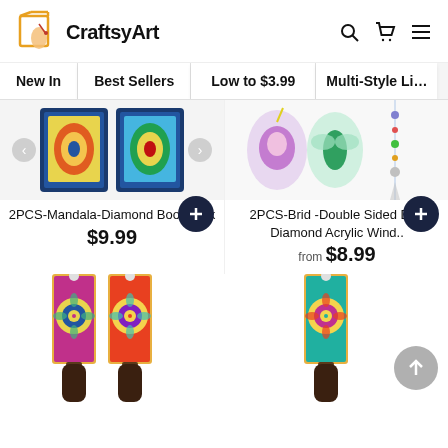CraftsyArt
New In
Best Sellers
Low to $3.99
Multi-Style Li...
2PCS-Mandala-Diamond Bookmark
$9.99
2PCS-Brid -Double Sided Dril-Diamond Acrylic Wind..
from $8.99
[Figure (photo): Two colorful mandala diamond bookmarks with tassels]
[Figure (photo): Colorful mandala bookmark product images in bottom row]